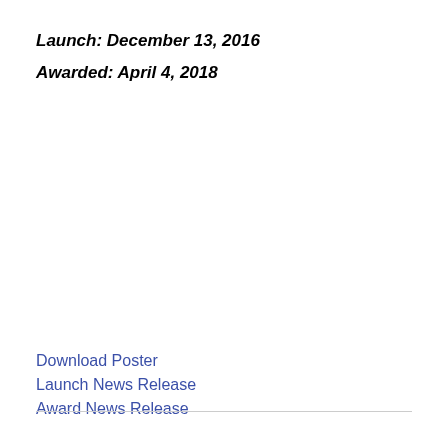Launch: December 13, 2016
Awarded: April 4, 2018
Download Poster
Launch News Release
Award News Release